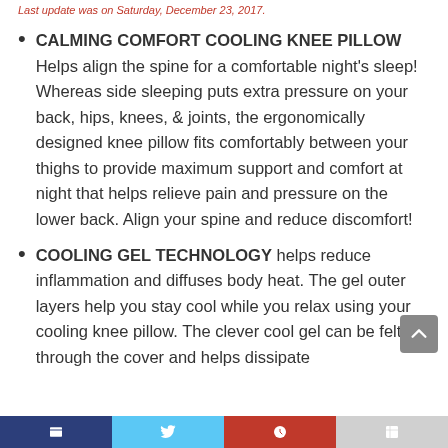Last update was on Saturday, December 23, 2017.
CALMING COMFORT COOLING KNEE PILLOW Helps align the spine for a comfortable night's sleep! Whereas side sleeping puts extra pressure on your back, hips, knees, & joints, the ergonomically designed knee pillow fits comfortably between your thighs to provide maximum support and comfort at night that helps relieve pain and pressure on the lower back. Align your spine and reduce discomfort!
COOLING GEL TECHNOLOGY helps reduce inflammation and diffuses body heat. The gel outer layers help you stay cool while you relax using your cooling knee pillow. The clever cool gel can be felt through the cover and helps dissipate